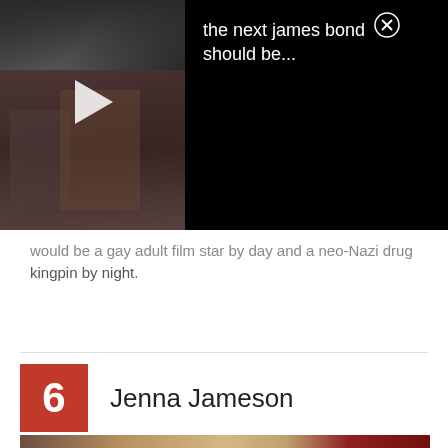[Figure (screenshot): Video overlay with dark thumbnail showing a movie scene on the left, a play button triangle in center-left, and text 'the next james bond should be...' with close X button on the right black panel]
would be a gay adult film star by day and a neo-Nazi drug kingpin by night.
6  Jenna Jameson
[Figure (photo): Photo of Jenna Jameson, a blonde woman, at what appears to be a red-carpet event]